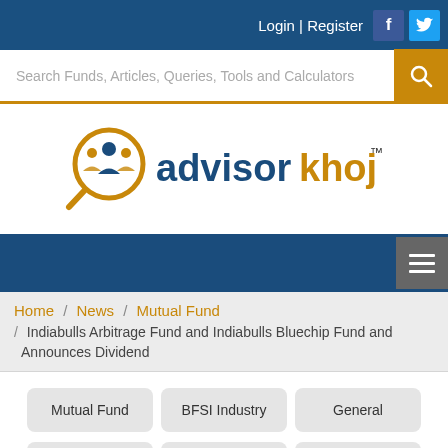Login | Register
[Figure (logo): AdvisorKhoj logo with magnifying glass icon and text 'advisorkhoj']
Search Funds, Articles, Queries, Tools and Calculators
Home / News / Mutual Fund / Indiabulls Arbitrage Fund and Indiabulls Bluechip Fund and Announces Dividend
Mutual Fund
BFSI Industry
General
Share Markets
Income Tax
NFO